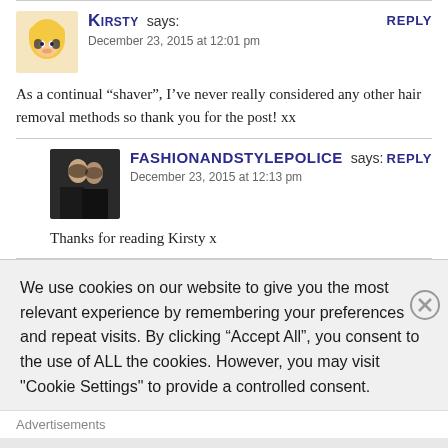Kirsty says: December 23, 2015 at 12:01 pm | REPLY
As a continual “shaver”, I’ve never really considered any other hair removal methods so thank you for the post! xx
FASHIONANDSTYLEPOLICE says: December 23, 2015 at 12:13 pm | REPLY
Thanks for reading Kirsty x
We use cookies on our website to give you the most relevant experience by remembering your preferences and repeat visits. By clicking “Accept All”, you consent to the use of ALL the cookies. However, you may visit "Cookie Settings" to provide a controlled consent.
Advertisements